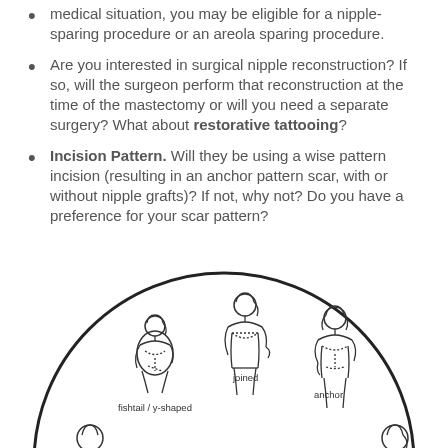medical situation, you may be eligible for a nipple-sparing procedure or an areola sparing procedure.
Are you interested in surgical nipple reconstruction? If so, will the surgeon perform that reconstruction at the time of the mastectomy or will you need a separate surgery? What about restorative tattooing?
Incision Pattern. Will they be using a wise pattern incision (resulting in an anchor pattern scar, with or without nipple grafts)? If not, why not? Do you have a preference for your scar pattern?
[Figure (illustration): A circular diagram showing illustrations of women with different mastectomy scar patterns, labeled: fishtail / y-shaped, joined, anchor, and others visible at the edges of the circle.]